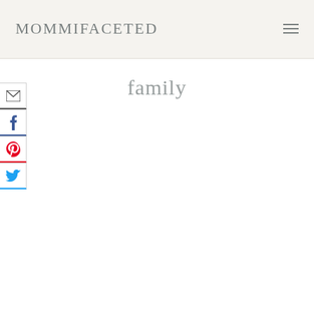MOMMIFACETED
family
[Figure (other): Social sharing sidebar with email, Facebook, Pinterest, and Twitter icons]